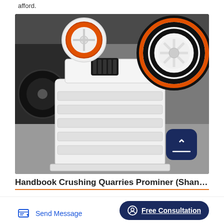afford.
[Figure (photo): A large white jaw crusher machine with two orange and black flywheel pulleys mounted on top, photographed outdoors in an industrial setting. The machine has a ribbed/finned body structure. A dark blue scroll-to-top button with an arrow icon is overlaid in the bottom-right corner of the image.]
Handbook Crushing Quarries Prominer (Shanghai)
Send Message
Free Consultation